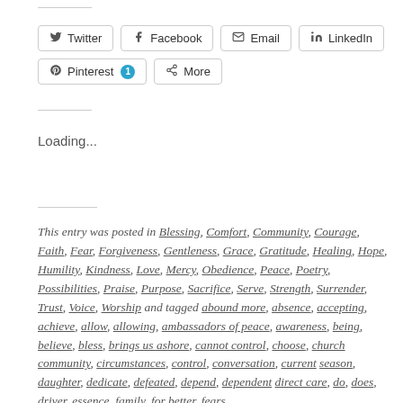Twitter, Facebook, Email, LinkedIn, Pinterest 1, More (share buttons)
Loading...
This entry was posted in Blessing, Comfort, Community, Courage, Faith, Fear, Forgiveness, Gentleness, Grace, Gratitude, Healing, Hope, Humility, Kindness, Love, Mercy, Obedience, Peace, Poetry, Possibilities, Praise, Purpose, Sacrifice, Serve, Strength, Surrender, Trust, Voice, Worship and tagged abound more, absence, accepting, achieve, allow, allowing, ambassadors of peace, awareness, being, believe, bless, brings us ashore, cannot control, choose, church community, circumstances, control, conversation, current season, daughter, dedicate, defeated, depend, dependent, direct care, do, does, driver, essence, family, for better, fears